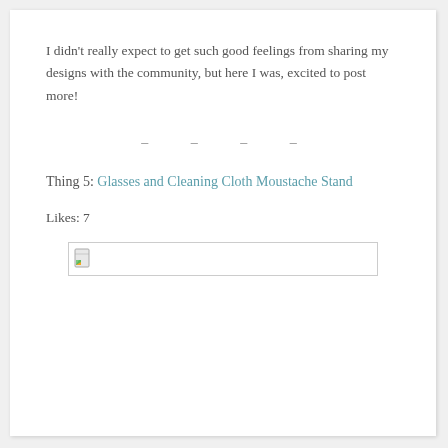I didn't really expect to get such good feelings from sharing my designs with the community, but here I was, excited to post more!
– – – –
Thing 5: Glasses and Cleaning Cloth Moustache Stand
Likes: 7
[Figure (photo): Broken image placeholder showing a small image icon with a green and yellow graphic in the lower-left corner, inside a rectangular border]